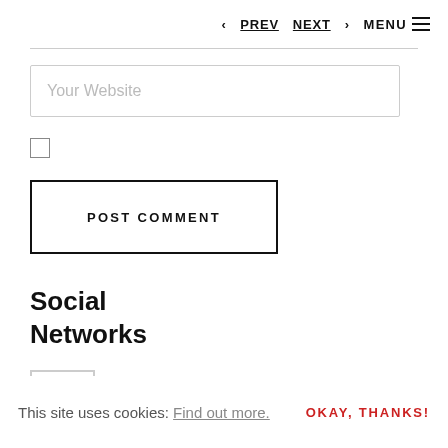< PREV  NEXT >  MENU ≡
Your Website
[Figure (other): Checkbox (unchecked)]
POST COMMENT
Social Networks
[Figure (other): Social network icon button with circular dark icon inside a bordered square]
This site uses cookies: Find out more.
OKAY, THANKS!